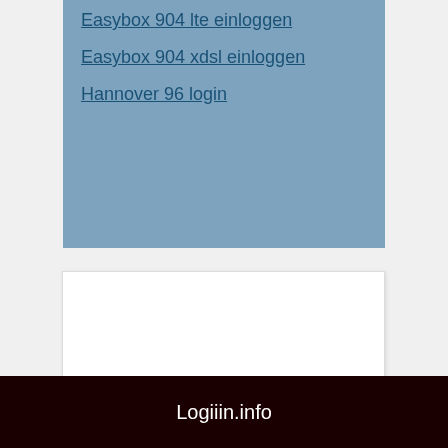Easybox 904 lte einloggen
Easybox 904 xdsl einloggen
Hannover 96 login
[Figure (other): Empty white card box 1]
[Figure (other): Empty white card box 2]
[Figure (other): Empty white card box 3]
Logiiin.info